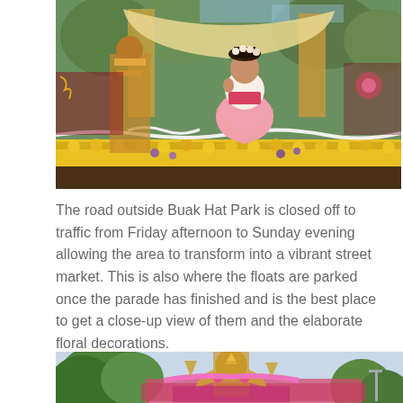[Figure (photo): A woman in traditional Thai festival costume with white top and pink skirt seated on a flower-decorated parade float with yellow marigold garlands and golden canopy, at Chiang Mai Flower Festival parade.]
The road outside Buak Hat Park is closed off to traffic from Friday afternoon to Sunday evening allowing the area to transform into a vibrant street market. This is also where the floats are parked once the parade has finished and is the best place to get a close-up view of them and the elaborate floral decorations.
[Figure (photo): A large golden Thai mythological deity statue on a colorful parade float decorated with flowers, with trees and blue sky in the background.]